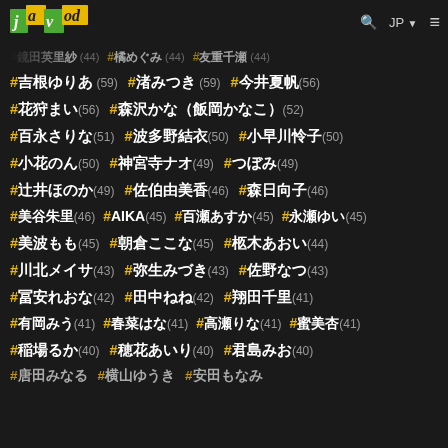javod JP
#吉根ゆりあ (59) #渚みつき (59) #今井夏帆 (56)
#花狩まい (56) #森沢かな（飯岡かなこ）(52)
#百永さりな (51) #波多野結衣 (50) #小早川怜子 (50)
#小花のん (50) #神宮寺ナオ (49) #つぼみ (49)
#辻井ほのか (49) #佐伯由美香 (46) #森日向子 (46)
#美谷朱里 (46) #AIKA (45) #百瀬あすか (45) #永瀬ゆい (45)
#美波もも (45) #朝倉ここな (45) #柩木あおい (44)
#川北メイサ (43) #弥生みづき (43) #佐野なつ (43)
#冨安れおな (42) #田中ねね (42) #翔田千里 (41)
#有岡みう (41) #春菜はな (41) #高瀬りな (41) #蜜美杏 (41)
#稲場るか (40) #穂花あいり (40) #君島みお (40)